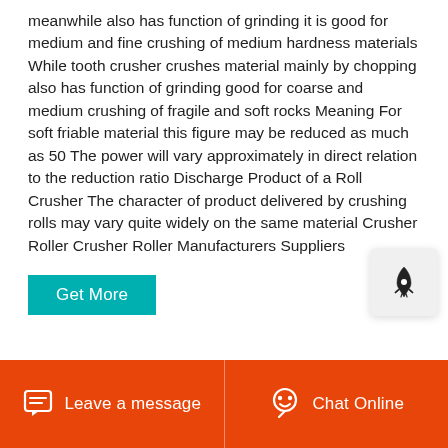meanwhile also has function of grinding it is good for medium and fine crushing of medium hardness materials While tooth crusher crushes material mainly by chopping also has function of grinding good for coarse and medium crushing of fragile and soft rocks Meaning For soft friable material this figure may be reduced as much as 50 The power will vary approximately in direct relation to the reduction ratio Discharge Product of a Roll Crusher The character of product delivered by crushing rolls may vary quite widely on the same material Crusher Roller Crusher Roller Manufacturers Suppliers
Get More
Leave a message
Chat Online